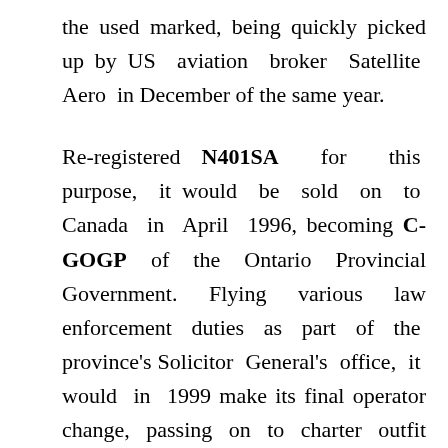the used marked, being quickly picked up by US aviation broker Satellite Aero in December of the same year.
Re-registered N401SA for this purpose, it would be sold on to Canada in April 1996, becoming C-GOGP of the Ontario Provincial Government. Flying various law enforcement duties as part of the province's Solicitor General's office, it would in 1999 make its final operator change, passing on to charter outfit Lockhart Air Services (also of Ontario). However, its current status is up for debate, with some sources stating it is still